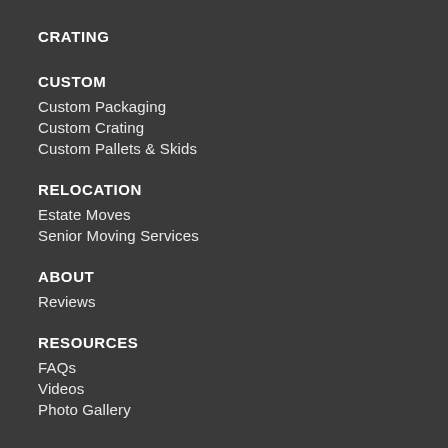CRATING
CUSTOM
Custom Packaging
Custom Crating
Custom Pallets & Skids
RELOCATION
Estate Moves
Senior Moving Services
ABOUT
Reviews
RESOURCES
FAQs
Videos
Photo Gallery